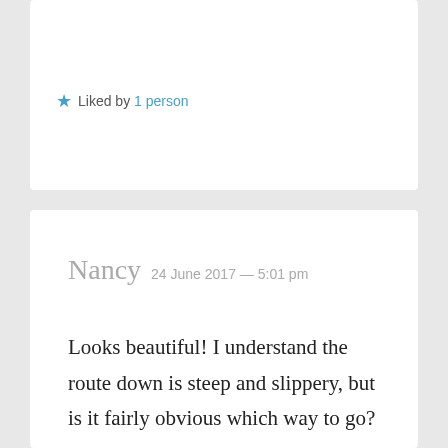★ Liked by 1 person
Nancy  24 June 2017 — 5:01 pm
Looks beautiful! I understand the route down is steep and slippery, but is it fairly obvious which way to go?

Many thanks for this wonderful post and photos,